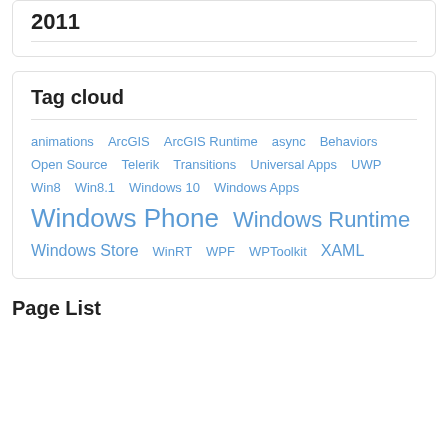2011
Tag cloud
animations ArcGIS ArcGIS Runtime async Behaviors Open Source Telerik Transitions Universal Apps UWP Win8 Win8.1 Windows 10 Windows Apps Windows Phone Windows Runtime Windows Store WinRT WPF WPToolkit XAML
Page List